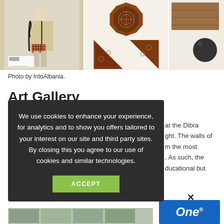[Figure (photo): Three-panel photo strip showing: left panel - a mannequin wearing traditional Albanian clothing (beige jacket with black trim, plaid bag); center panel - ornate carved wooden decorative pieces including an octagonal medallion and triangular corner pieces; right panel - wooden panel and dark sphere on white background]
Photo by IntoAlbania.
Art Gallery
at the Dibra ght. The walls of m the most . As such, the ducational but
We use cookies to enhance your experience, for analytics and to show you offers tailored to your interest on our site and third party sites. By closing this you agree to our use of cookies and similar technologies.
ACCEPT
[Figure (logo): One channel logo - white text 'One' with superscript registered mark on blue background]
[Figure (photo): Bottom strip showing partial thumbnail images]